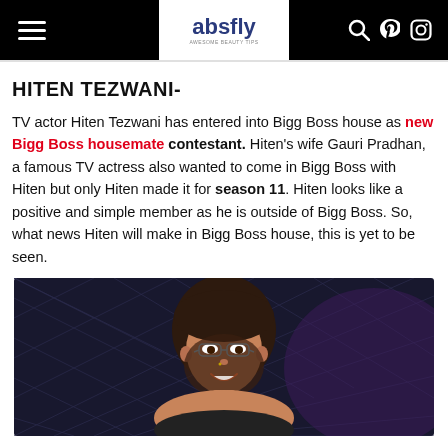absfly — navigation bar with hamburger menu, logo, search, pinterest, and instagram icons
HITEN TEZWANI-
TV actor Hiten Tezwani has entered into Bigg Boss house as new Bigg Boss housemate contestant. Hiten's wife Gauri Pradhan, a famous TV actress also wanted to come in Bigg Boss with Hiten but only Hiten made it for season 11. Hiten looks like a positive and simple member as he is outside of Bigg Boss. So, what news Hiten will make in Bigg Boss house, this is yet to be seen.
[Figure (photo): Photo of a woman with glasses smiling, against a dark purple/blue geometric patterned background]